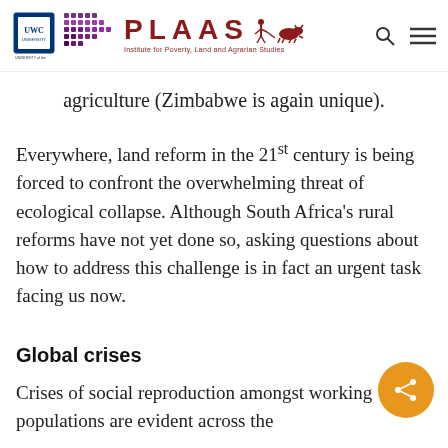PLAAS – Institute for Poverty, Land and Agrarian Studies
agriculture (Zimbabwe is again unique).
Everywhere, land reform in the 21st century is being forced to confront the overwhelming threat of ecological collapse. Although South Africa's rural reforms have not yet done so, asking questions about how to address this challenge is in fact an urgent task facing us now.
Global crises
Crises of social reproduction amongst working populations are evident across the